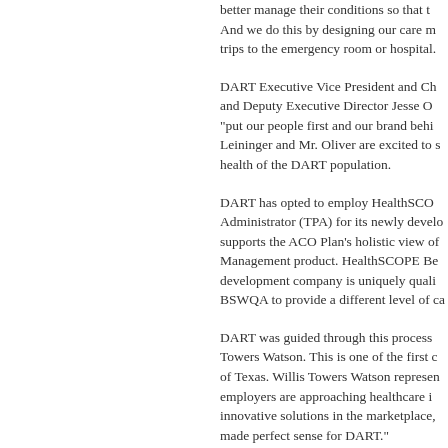better manage their conditions so that they can live healthier lives. And we do this by designing our care management to reduce costly trips to the emergency room or hospital.
DART Executive Vice President and Chief Human Resources Officer and Deputy Executive Director Jesse Oliver asked HealthSCOPE to "put our people first and our brand behind." Both Ms. Leininger and Mr. Oliver are excited to see improvement in the health of the DART population.
DART has opted to employ HealthSCOPE Benefits as its Third Party Administrator (TPA) for its newly developed ACO Plan. HealthSCOPE supports the ACO Plan's holistic view of care with its Care Management product. HealthSCOPE Benefits, a woman-owned business development company is uniquely qualified to work with both DART and BSWQA to provide a different level of care management.
DART was guided through this process by consultant Willis Towers Watson. This is one of the first of its kind agreements in the state of Texas. Willis Towers Watson represents a significant shift in how employers are approaching healthcare in Texas. "The focus on innovative solutions in the marketplace, particularly for Texas, made perfect sense for DART."